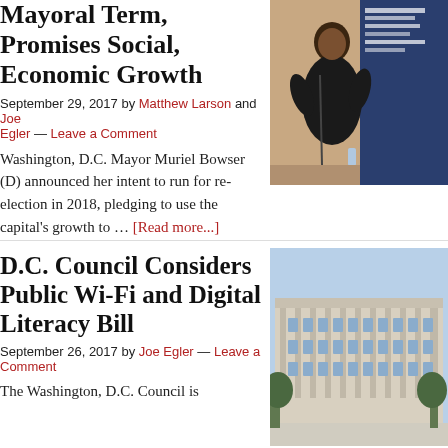Mayoral Term, Promises Social, Economic Growth
September 29, 2017 by Matthew Larson and Joe Egler — Leave a Comment
[Figure (photo): Woman speaking at podium with Georgetown University McDonough School banner in background]
Washington, D.C. Mayor Muriel Bowser (D) announced her intent to run for re-election in 2018, pledging to use the capital's growth to … [Read more...]
D.C. Council Considers Public Wi-Fi and Digital Literacy Bill
September 26, 2017 by Joe Egler — Leave a Comment
[Figure (photo): Washington D.C. government building exterior, classical architecture, clear sky]
The Washington, D.C. Council is